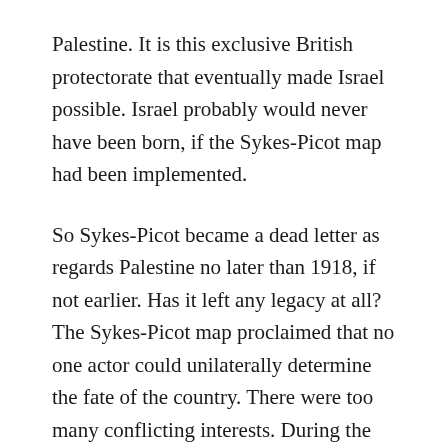Palestine. It is this exclusive British protectorate that eventually made Israel possible. Israel probably would never have been born, if the Sykes-Picot map had been implemented.
So Sykes-Picot became a dead letter as regards Palestine no later than 1918, if not earlier. Has it left any legacy at all? The Sykes-Picot map proclaimed that no one actor could unilaterally determine the fate of the country. There were too many conflicting interests. During the mandate years, Britain had enough power to call the shots alone. But only twenty years after Sykes-Picot, partition again became the solution to solving clashing interests in Palestine. So it has been from the Peel plan of 1937, to the UN partition plan of 1947, and